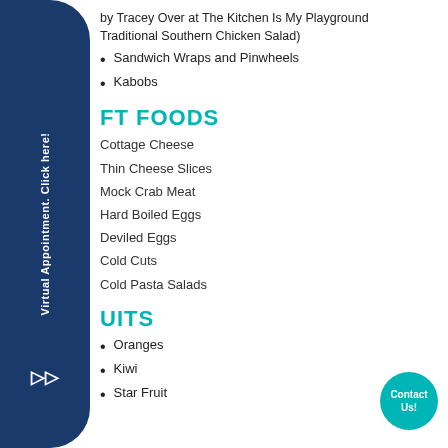by Tracey Over at The Kitchen Is My Playground Traditional Southern Chicken Salad)
Sandwich Wraps and Pinwheels
Kabobs
FT FOODS
Cottage Cheese
Thin Cheese Slices
Mock Crab Meat
Hard Boiled Eggs
Deviled Eggs
Cold Cuts
Cold Pasta Salads
UITS
Oranges
Kiwi
Star Fruit